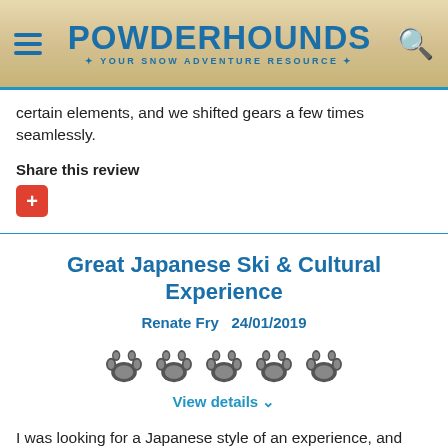POWDERHOUNDS - YOUR SNOW ADVENTURE RESOURCE
certain elements, and we shifted gears a few times seamlessly.
Share this review
Great Japanese Ski & Cultural Experience
Renate Fry  24/01/2019
[Figure (other): Five paw print rating icons]
View details ∨
I was looking for a Japanese style of an experience, and Taku our friendly, service-oriented guide, more than delivered. He